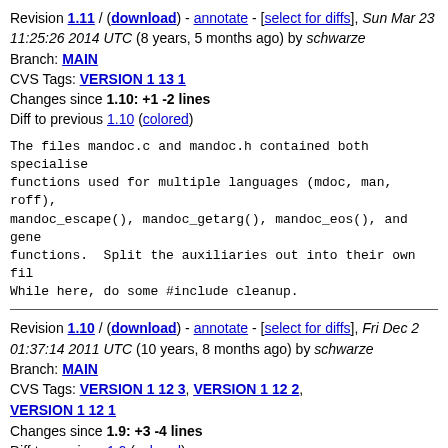Revision 1.11 / (download) - annotate - [select for diffs], Sun Mar 23 11:25:26 2014 UTC (8 years, 5 months ago) by schwarze
Branch: MAIN
CVS Tags: VERSION_1_13_1
Changes since 1.10: +1 -2 lines
Diff to previous 1.10 (colored)
The files mandoc.c and mandoc.h contained both specialised functions used for multiple languages (mdoc, man, roff), mandoc_escape(), mandoc_getarg(), mandoc_eos(), and general functions. Split the auxiliaries out into their own file. While here, do some #include cleanup.
Revision 1.10 / (download) - annotate - [select for diffs], Fri Dec 2 01:37:14 2011 UTC (10 years, 8 months ago) by schwarze
Branch: MAIN
CVS Tags: VERSION_1_12_3, VERSION_1_12_2, VERSION_1_12_1
Changes since 1.9: +3 -4 lines
Diff to previous 1.9 (colored)
In man(7), when no explicit volume name is given, use the volume name for the respective manual section, just like. This gives us nicer page headers for cvs(1), lynx(1), tic, mkhybrid(8), and many curses(3) manuals.